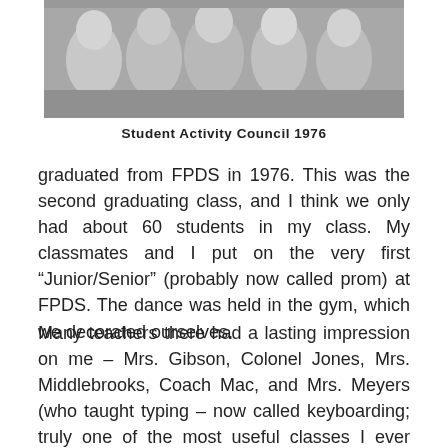[Figure (photo): Black and white group photo of students, Student Activity Council 1976]
Student Activity Council 1976
graduated from FPDS in 1976. This was the second graduating class, and I think we only had about 60 students in my class. My classmates and I put on the very first “Junior/Senior” (probably now called prom) at FPDS. The dance was held in the gym, which we decorated ourselves.
Many teachers there had a lasting impression on me – Mrs. Gibson, Colonel Jones, Mrs. Middlebrooks, Coach Mac, and Mrs. Meyers (who taught typing – now called keyboarding; truly one of the most useful classes I ever took!). I am fortunate